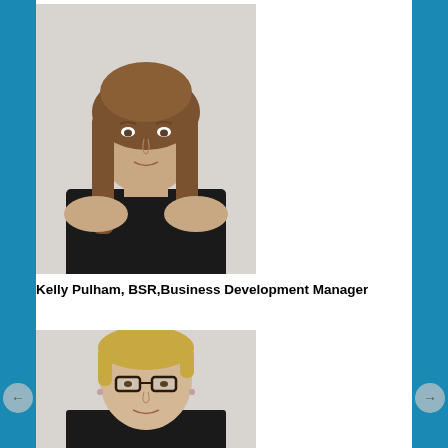[Figure (photo): Professional headshot of Kelly Pulham, a woman with long brown hair wearing a black top, against a light grey background]
Kelly Pulham, BSR,Business Development Manager
[Figure (photo): Professional headshot of a woman with short blonde hair wearing glasses and a black top, against a light grey background]